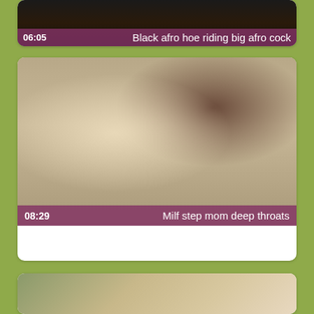[Figure (screenshot): Video thumbnail card 1: dark video thumbnail with purple overlay bar showing duration 06:05 and title 'Black afro hoe riding big afro cock']
[Figure (screenshot): Video thumbnail card 2: video still showing a blonde woman on a couch, with purple overlay bar showing duration 08:29 and title 'Milf step mom deep throats']
[Figure (screenshot): Video thumbnail card 3: partially visible video thumbnail at bottom of page, cropped]